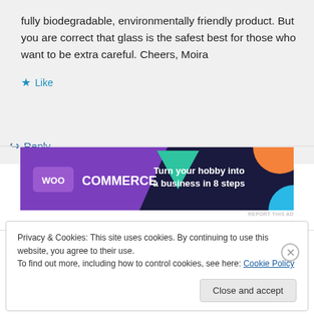fully biodegradable, environmentally friendly product. But you are correct that glass is the safest best for those who want to be extra careful. Cheers, Moira
★ Like
↳ Reply
[Figure (infographic): WooCommerce advertisement banner: purple/dark navy background with geometric shapes (teal triangle, orange circle, blue circle). Text: 'WooCommerce - Turn your hobby into a business in 8 steps']
REPORT THIS AD
Privacy & Cookies: This site uses cookies. By continuing to use this website, you agree to their use. To find out more, including how to control cookies, see here: Cookie Policy
Close and accept